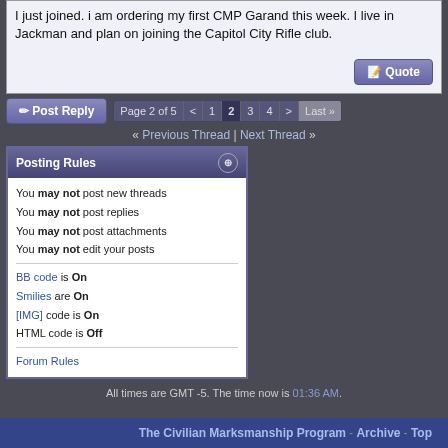I just joined. i am ordering my first CMP Garand this week. I live in Jackman and plan on joining the Capitol City Rifle club.
Page 2 of 5 < 1 2 3 4 > Last »
« Previous Thread | Next Thread »
Posting Rules
You may not post new threads
You may not post replies
You may not post attachments
You may not edit your posts
BB code is On
Smilies are On
[IMG] code is On
HTML code is Off
Forum Rules
All times are GMT -5. The time now is 01:36 AM.
The Civilian Marksmanship Program - Archive - Top